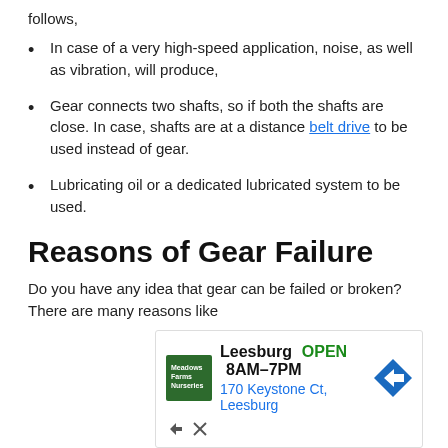follows,
In case of a very high-speed application, noise, as well as vibration, will produce,
Gear connects two shafts, so if both the shafts are close. In case, shafts are at a distance belt drive to be used instead of gear.
Lubricating oil or a dedicated lubricated system to be used.
Reasons of Gear Failure
Do you have any idea that gear can be failed or broken? There are many reasons like
[Figure (other): Advertisement for Leesburg location showing logo, OPEN status, hours 8AM-7PM, and address 170 Keystone Ct, Leesburg]